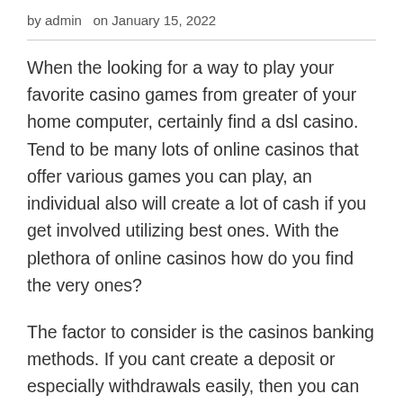by admin  on January 15, 2022
When the looking for a way to play your favorite casino games from greater of your home computer, certainly find a dsl casino. Tend to be many lots of online casinos that offer various games you can play, an individual also will create a lot of cash if you get involved utilizing best ones. With the plethora of online casinos how do you find the very ones?
The factor to consider is the casinos banking methods. If you cant create a deposit or especially withdrawals easily, then you can certainly should not play where there. Nothing makes an online casino player more upset than not being in a very position cash out your winnings. You two main ways help make matters sure your deposit is safe. When you